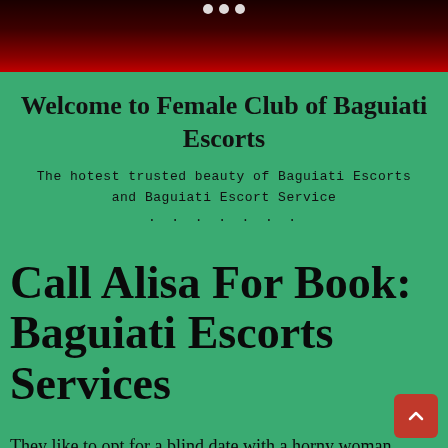[Figure (photo): Top banner image showing a dark background with red tones and white navigation dots at the top center]
Welcome to Female Club of Baguiati Escorts
The hotest trusted beauty of Baguiati Escorts and Baguiati Escort Service
Call Alisa For Book: Baguiati Escorts Services
They like to opt for a blind date with a horny woman invariably. If you're one amongst them World Health Organization wish to relish their life with the except